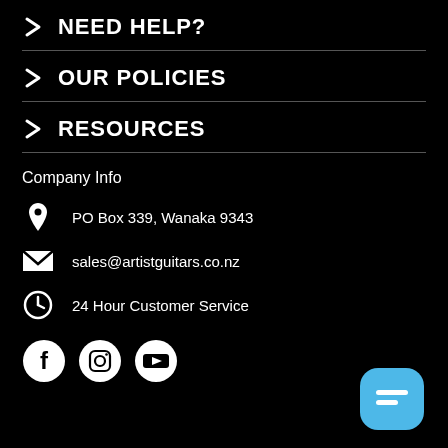> NEED HELP?
> OUR POLICIES
> RESOURCES
Company Info
PO Box 339, Wanaka 9343
sales@artistguitars.co.nz
24 Hour Customer Service
[Figure (illustration): Social media icons: Facebook, Instagram, YouTube circles and a blue chat button]